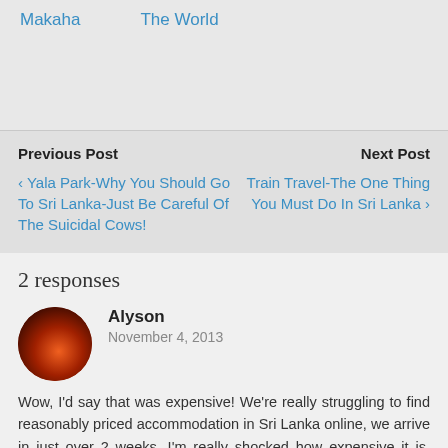Makaha   The World
Previous Post
Next Post
‹ Yala Park-Why You Should Go To Sri Lanka-Just Be Careful Of The Suicidal Cows!
Train Travel-The One Thing You Must Do In Sri Lanka ›
2 responses
Alyson
November 4, 2013
Wow, I'd say that was expensive! We're really struggling to find reasonably priced accommodation in Sri Lanka online, we arrive in just over 2 weeks. I'm really shocked how expensive it is. Very disappointing. I've got a room for 4 people in Colombo for $25/night, but that's just our first night.